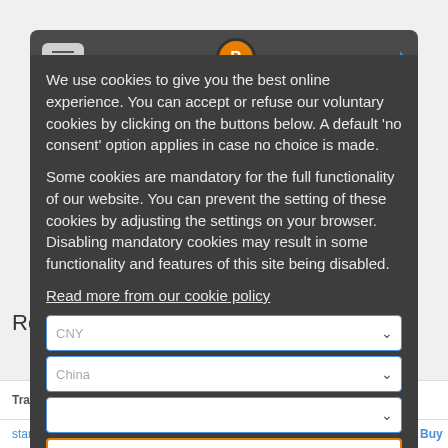We use cookies to give you the best online experience. You can accept or refuse our voluntary cookies by clicking on the buttons below. A default 'no consent' option applies in case no choice is made. Some cookies are mandatory for the full functionality of our website. You can prevent the setting of these cookies by adjusting the settings on your browser. Disabling mandatory cookies may result in some functionality and features of this site being disabled. Read more from our cookie policy
Results for buying bitcoins online
| Trader | Payment method | Price / BTC |
| --- | --- | --- |
| standstill45 (250+; | WeChat | 142,637.27 CNY | Buy |